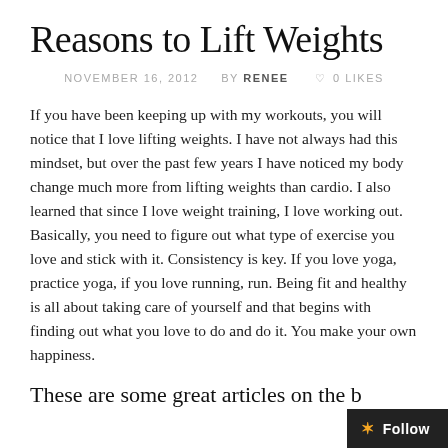Reasons to Lift Weights
NOVEMBER 16, 2012   BY RENEE   ♡ 0 LIKES
If you have been keeping up with my workouts, you will notice that I love lifting weights. I have not always had this mindset, but over the past few years I have noticed my body change much more from lifting weights than cardio. I also learned that since I love weight training, I love working out. Basically, you need to figure out what type of exercise you love and stick with it. Consistency is key. If you love yoga, practice yoga, if you love running, run. Being fit and healthy is all about taking care of yourself and that begins with finding out what you love to do and do it. You make your own happiness.
These are some great articles on the b[enefits of weight lifting]